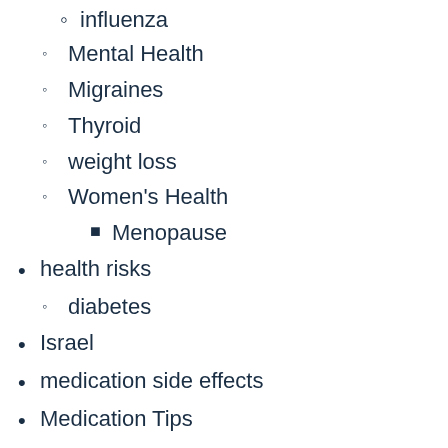influenza (partial, top of page)
Mental Health
Migraines
Thyroid
weight loss
Women's Health
Menopause
health risks
diabetes
Israel
medication side effects
Medication Tips
Medical Cannabis
medicinal mushrooms
Mens Health Week
Mental Health
Monkeypox
Myasthenia Gravis
Nutrition